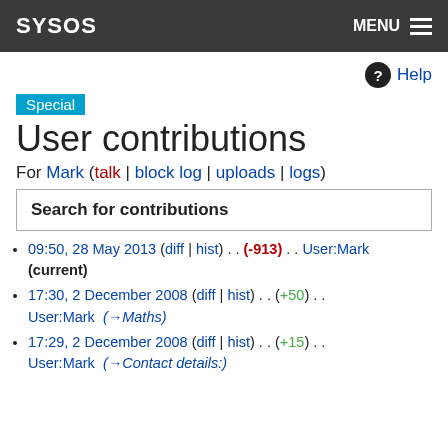SYSOS  MENU
Help
Special
User contributions
For Mark (talk | block log | uploads | logs)
Search for contributions
09:50, 28 May 2013 (diff | hist) . . (-913) . . User:Mark (current)
17:30, 2 December 2008 (diff | hist) . . (+50) . . User:Mark  (→Maths)
17:29, 2 December 2008 (diff | hist) . . (+15) . . User:Mark  (→Contact details:)